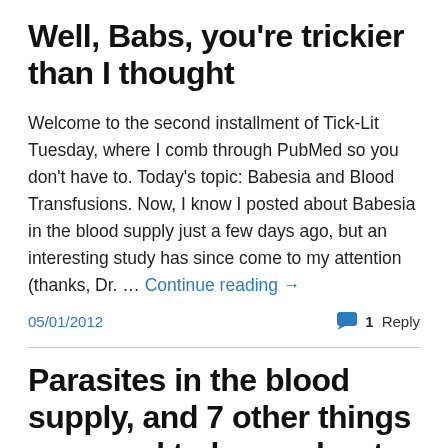Well, Babs, you’re trickier than I thought
Welcome to the second installment of Tick-Lit Tuesday, where I comb through PubMed so you don’t have to. Today’s topic: Babesia and Blood Transfusions. Now, I know I posted about Babesia in the blood supply just a few days ago, but an interesting study has since come to my attention (thanks, Dr. … Continue reading →
05/01/2012    1 Reply
Parasites in the blood supply, and 7 other things you need to know about Babesia